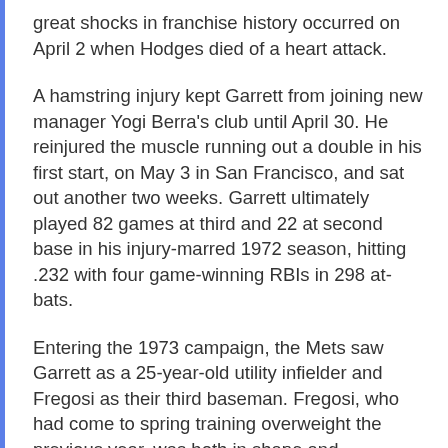great shocks in franchise history occurred on April 2 when Hodges died of a heart attack.
A hamstring injury kept Garrett from joining new manager Yogi Berra's club until April 30. He reinjured the muscle running out a double in his first start, on May 3 in San Francisco, and sat out another two weeks. Garrett ultimately played 82 games at third and 22 at second base in his injury-marred 1972 season, hitting .232 with four game-winning RBIs in 298 at-bats.
Entering the 1973 campaign, the Mets saw Garrett as a 25-year-old utility infielder and Fregosi as their third baseman. Fregosi, who had come to spring training overweight the previous year, was both in shape and enthusiastic in '73, but a sore arm impeded his throws to first base. The injury created an opening for Garrett, who in 1973 became the third